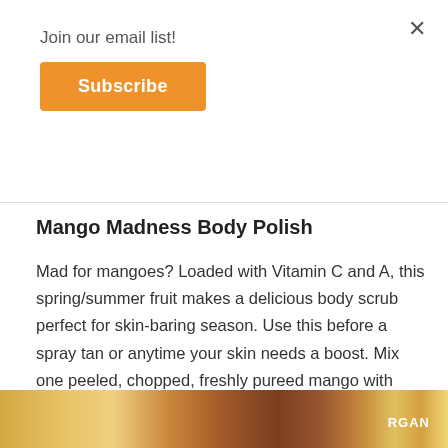Join our email list!
Subscribe
Mango Madness Body Polish
Mad for mangoes? Loaded with Vitamin C and A, this spring/summer fruit makes a delicious body scrub perfect for skin-baring season. Use this before a spray tan or anytime your skin needs a boost. Mix one peeled, chopped, freshly pureed mango with about ½ cup of yellow corn meal and 2 tablespoons of olive oil. Massage onto body and rinse.
[Figure (photo): Image strip at bottom showing mango pieces and related ingredients with colorful background; text 'RGAN' partially visible on right]